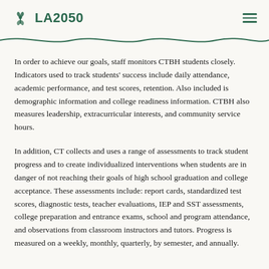LA2050
In order to achieve our goals, staff monitors CTBH students closely. Indicators used to track students' success include daily attendance, academic performance, and test scores, retention. Also included is demographic information and college readiness information. CTBH also measures leadership, extracurricular interests, and community service hours.
In addition, CT collects and uses a range of assessments to track student progress and to create individualized interventions when students are in danger of not reaching their goals of high school graduation and college acceptance. These assessments include: report cards, standardized test scores, diagnostic tests, teacher evaluations, IEP and SST assessments, college preparation and entrance exams, school and program attendance, and observations from classroom instructors and tutors. Progress is measured on a weekly, monthly, quarterly, by semester, and annually.